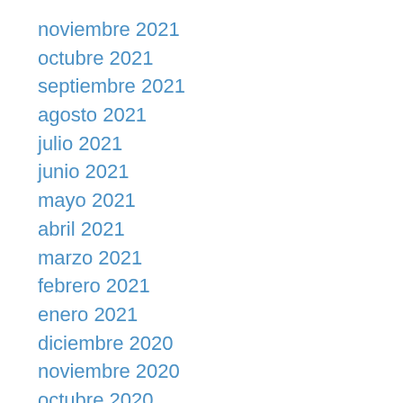noviembre 2021
octubre 2021
septiembre 2021
agosto 2021
julio 2021
junio 2021
mayo 2021
abril 2021
marzo 2021
febrero 2021
enero 2021
diciembre 2020
noviembre 2020
octubre 2020
septiembre 2020